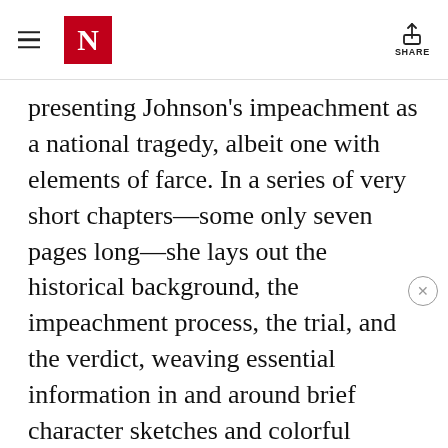The New Yorker — SHARE
presenting Johnson's impeachment as a national tragedy, albeit one with elements of farce. In a series of very short chapters—some only seven pages long—she lays out the historical background, the impeachment process, the trial, and the verdict, weaving essential information in and around brief character sketches and colorful quotations from the key players.